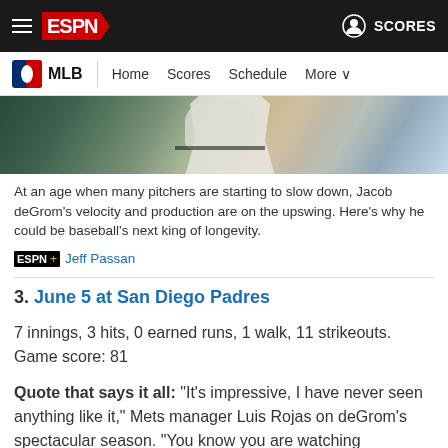ESPN - MLB - Home Scores Schedule More
[Figure (photo): Baseball player photo, partially visible, cropped at top of content area]
At an age when many pitchers are starting to slow down, Jacob deGrom's velocity and production are on the upswing. Here's why he could be baseball's next king of longevity.
ESPN+ Jeff Passan
3. June 5 at San Diego Padres
7 innings, 3 hits, 0 earned runs, 1 walk, 11 strikeouts. Game score: 81
Quote that says it all: "It's impressive, I have never seen anything like it," Mets manager Luis Rojas on deGrom's spectacular season. "You know you are watching something